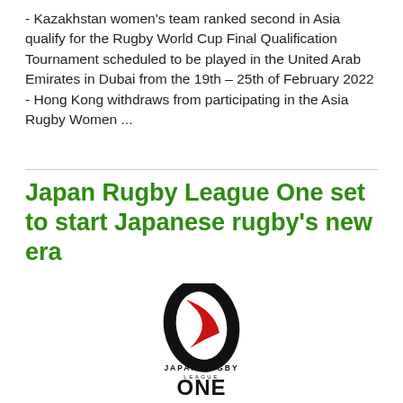- Kazakhstan women's team ranked second in Asia qualify for the Rugby World Cup Final Qualification Tournament scheduled to be played in the United Arab Emirates in Dubai from the 19th – 25th of February 2022 - Hong Kong withdraws from participating in the Asia Rugby Women ...
Japan Rugby League One set to start Japanese rugby's new era
[Figure (logo): Japan Rugby League One logo — a black oval rugby ball shape with a red swoosh/arrow through it, and text below reading 'JAPAN RUGBY LEAGUE ONE']